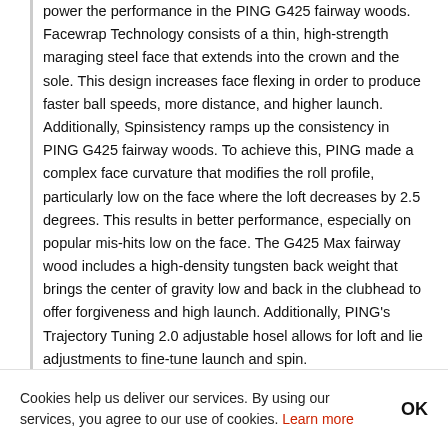power the performance in the PING G425 fairway woods. Facewrap Technology consists of a thin, high-strength maraging steel face that extends into the crown and the sole. This design increases face flexing in order to produce faster ball speeds, more distance, and higher launch. Additionally, Spinsistency ramps up the consistency in PING G425 fairway woods. To achieve this, PING made a complex face curvature that modifies the roll profile, particularly low on the face where the loft decreases by 2.5 degrees. This results in better performance, especially on popular mis-hits low on the face. The G425 Max fairway wood includes a high-density tungsten back weight that brings the center of gravity low and back in the clubhead to offer forgiveness and high launch. Additionally, PING's Trajectory Tuning 2.0 adjustable hosel allows for loft and lie adjustments to fine-tune launch and spin.
Cookies help us deliver our services. By using our services, you agree to our use of cookies. Learn more